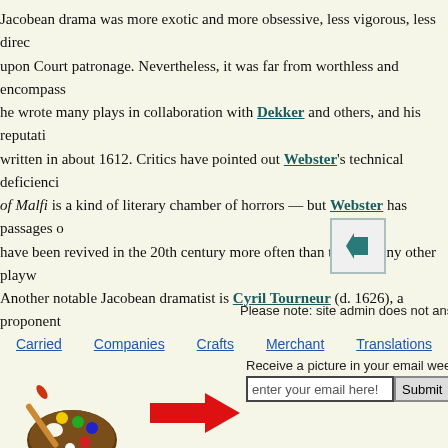Jacobean drama was more exotic and more obsessive, less vigorous, less dire... upon Court patronage. Nevertheless, it was far from worthless and encompass... he wrote many plays in collaboration with Dekker and others, and his reputati... written in about 1612. Critics have pointed out Webster's technical deficienci... of Malfi is a kind of literary chamber of horrors — but Webster has passages o... have been revived in the 20th century more often than those of any other playw... Another notable Jacobean dramatist is Cyril Tourneur (d. 1626), a proponent...
[Figure (other): Back navigation arrow button in a light blue-gray bordered box]
Please note: site admin does not ans
Carried   Companies   Crafts   Merchant   Translations
Receive a picture in your email weekly!
[Figure (illustration): Artist's paint palette with brushes illustration]
[Figure (other): Large red arrow pointing right]
enter your email here!  Submit